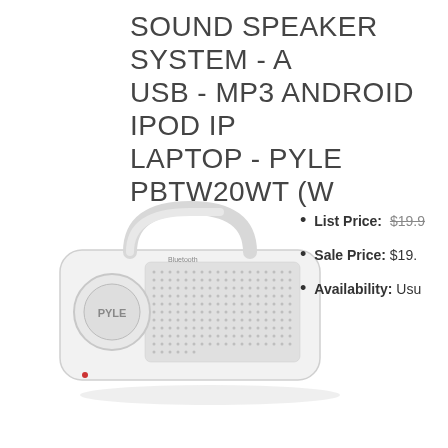SOUND SPEAKER SYSTEM - A USB - MP3 ANDROID IPOD IP LAPTOP - PYLE PBTW20WT (W
[Figure (photo): White Pyle PBTW20WT Bluetooth speaker system with handle, grid speaker grille, and Pyle button logo on front]
List Price: $19.9
Sale Price: $19.
Availability: Usu